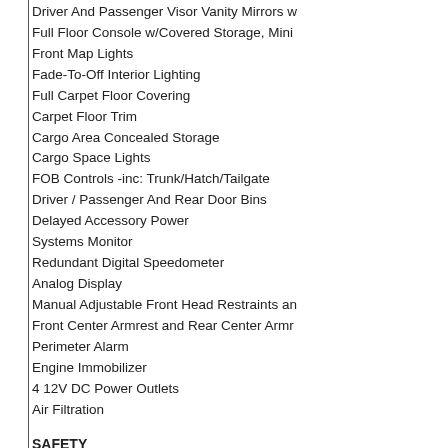Driver And Passenger Visor Vanity Mirrors w/...
Full Floor Console w/Covered Storage, Mini...
Front Map Lights
Fade-To-Off Interior Lighting
Full Carpet Floor Covering
Carpet Floor Trim
Cargo Area Concealed Storage
Cargo Space Lights
FOB Controls -inc: Trunk/Hatch/Tailgate
Driver / Passenger And Rear Door Bins
Delayed Accessory Power
Systems Monitor
Redundant Digital Speedometer
Analog Display
Manual Adjustable Front Head Restraints an...
Front Center Armrest and Rear Center Armr...
Perimeter Alarm
Engine Immobilizer
4 12V DC Power Outlets
Air Filtration
SAFETY
Side Impact Beams
Dual Stage Driver And Passenger Seat-Mou...
Tire Specific Low Tire Pressure Warning
Dual Stage Driver And Passenger Front Airb...
Curtain 1st And 2nd Row Airbags
Airbag Occupancy Sensor
Rear Child Safety Locks
Outboard Front Lap And Shoulder Safety Be...